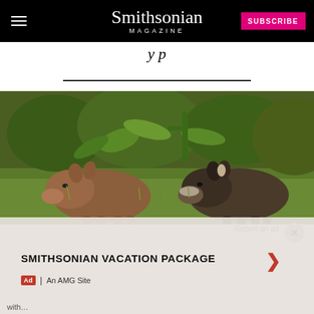Smithsonian Magazine | SUBSCRIBE
...y p...
[Figure (photo): Two young wild boar piglets grazing on grass with green vegetation and brush in the background]
SMITHSONIAN VACATION PACKAGE
Ad | An AMG Site